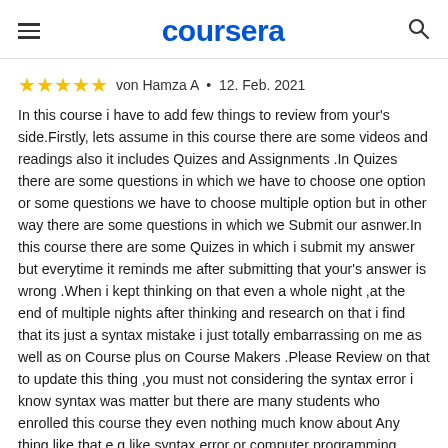coursera
★★★★★ von Hamza A • 12. Feb. 2021
In this course i have to add few things to review from your's side.Firstly, lets assume in this course there are some videos and readings also it includes Quizes and Assignments .In Quizes there are some questions in which we have to choose one option or some questions we have to choose multiple option but in other way there are some questions in which we Submit our asnwer.In this course there are some Quizes in which i submit my answer but everytime it reminds me after submitting that your's answer is wrong .When i kept thinking on that even a whole night ,at the end of multiple nights after thinking and research on that i find that its just a syntax mistake i just totally embarrassing on me as well as on Course plus on Course Makers .Please Review on that to update this thing ,you must not considering the syntax error i know syntax was matter but there are many students who enrolled this course they even nothing much know about Any thing like that e.g like syntax error or computer programming